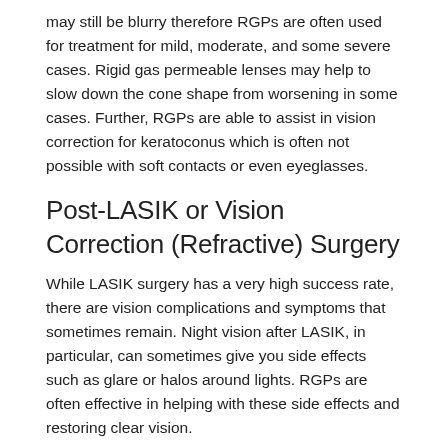may still be blurry therefore RGPs are often used for treatment for mild, moderate, and some severe cases. Rigid gas permeable lenses may help to slow down the cone shape from worsening in some cases. Further, RGPs are able to assist in vision correction for keratoconus which is often not possible with soft contacts or even eyeglasses.
Post-LASIK or Vision Correction (Refractive) Surgery
While LASIK surgery has a very high success rate, there are vision complications and symptoms that sometimes remain. Night vision after LASIK, in particular, can sometimes give you side effects such as glare or halos around lights. RGPs are often effective in helping with these side effects and restoring clear vision.
Bifocal and Multifocal Contact Lenses for Presbyopia
Presbyopia is a common condition in those people usually over 40 years old in which the eyes' ability to focus on close